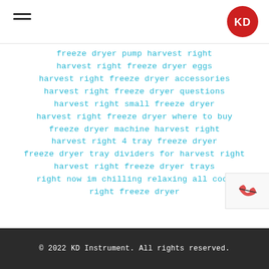[Figure (logo): KD Instrument logo — red circle with white KD letters]
freeze dryer pump harvest right
harvest right freeze dryer eggs
harvest right freeze dryer accessories
harvest right freeze dryer questions
harvest right small freeze dryer
harvest right freeze dryer where to buy
freeze dryer machine harvest right
harvest right 4 tray freeze dryer
freeze dryer tray dividers for harvest right
harvest right freeze dryer trays
right now im chilling relaxing all cool
right freeze dryer
© 2022 KD Instrument. All rights reserved.